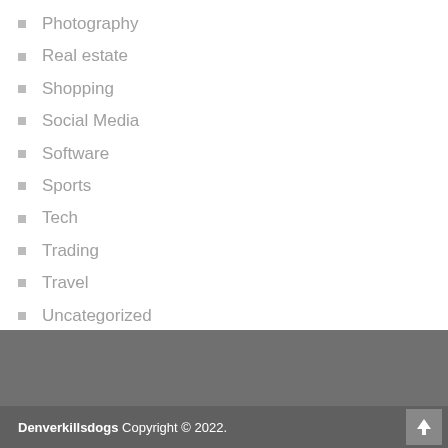Photography
Real estate
Shopping
Social Media
Software
Sports
Tech
Trading
Travel
Uncategorized
Web Design
Denverkillsdogs Copyright © 2022.